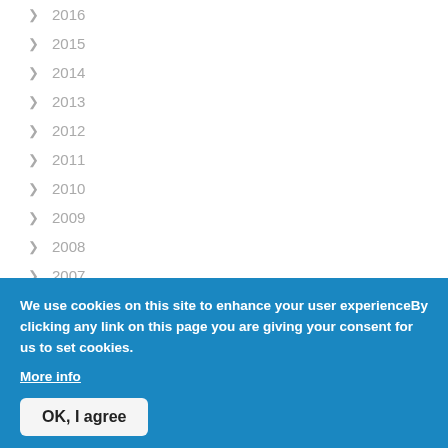2016
2015
2014
2013
2012
2011
2010
2009
2008
2007
We use cookies on this site to enhance your user experienceBy clicking any link on this page you are giving your consent for us to set cookies. More info
OK, I agree